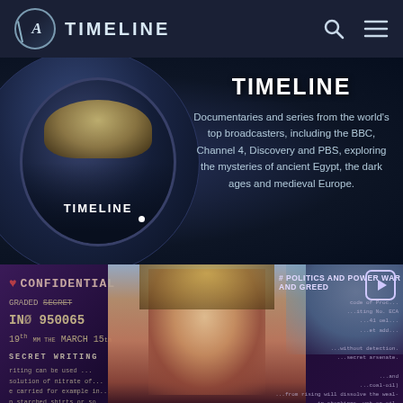A TIMELINE
TIMELINE
Documentaries and series from the world's top broadcasters, including the BBC, Channel 4, Discovery and PBS, exploring the mysteries of ancient Egypt, the dark ages and medieval Europe.
[Figure (screenshot): Screenshot of Timeline YouTube channel page showing logo, description, and a thumbnail with a colorized portrait of a woman over spy document background with CONFIDENTIAL stamp and text reading '# POLITICS AND POWER WAR AND GREED' with a play button]